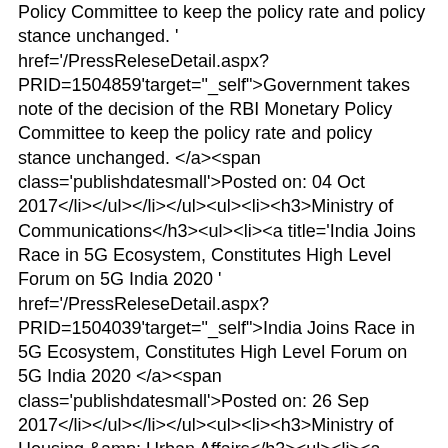Policy Committee to keep the policy rate and policy stance unchanged. ' href='/PressReleseDetail.aspx?PRID=1504859'target="_self">Government takes note of the decision of the RBI Monetary Policy Committee to keep the policy rate and policy stance unchanged. </a><span class='publishdatesmall'>Posted on: 04 Oct 2017</li></ul></li></ul><ul><li><h3>Ministry of Communications</h3><ul><li><a title='India Joins Race in 5G Ecosystem, Constitutes High Level Forum on 5G India 2020 ' href='/PressReleseDetail.aspx?PRID=1504039'target="_self">India Joins Race in 5G Ecosystem, Constitutes High Level Forum on 5G India 2020 </a><span class='publishdatesmall'>Posted on: 26 Sep 2017</li></ul></li></ul><ul><li><h3>Ministry of Housing &amp; Urban Affairs</h3><ul><li><a title='Centre announces new PPP Policy to promote private investments in affordable housing ' href='/PressReleseDetail.aspx?PRID=1503602'target="_self">Centre announces new PPP Policy to promote private investments in affordable housing </a><span class='publishdatesmall'>Posted on: 21 Sep 2017</li></ul></li></ul><ul><li><h3>Ministry of Civil Aviation</h3><ul><li><a title='Initiatives to Bridge Skill Gap in Civil Aviation Sector ' href='/PressReleseDetail.aspx?